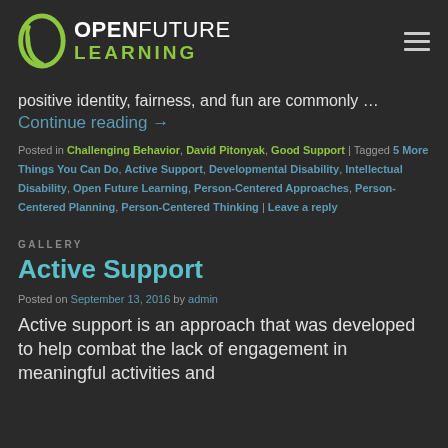[Figure (logo): Open Future Learning logo with leaf icon, bold white OPEN, regular white FUTURE, and green LEARNING text]
positive identity, fairness, and fun are commonly … Continue reading →
Posted in Challenging Behavior, David Pitonyak, Good Support | Tagged 5 More Things You Can Do, Active Support, Developmental Disability, Intellectual Disability, Open Future Learning, Person-Centered Approaches, Person-Centered Planning, Person-Centered Thinking | Leave a reply
GALLERY
Active Support
Posted on September 13, 2016 by admin
Active support is an approach that was developed to help combat the lack of engagement in meaningful activities and